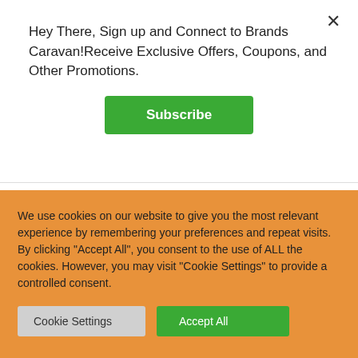Hey There, Sign up and Connect to Brands Caravan!Receive Exclusive Offers, Coupons, and Other Promotions.
Subscribe
Home / Gaming Zone / Video games
Brand: Warner Bros.
Visit the Avita Store
LEGO Jurassic World for Xbox One
We use cookies on our website to give you the most relevant experience by remembering your preferences and repeat visits. By clicking "Accept All", you consent to the use of ALL the cookies. However, you may visit "Cookie Settings" to provide a controlled consent.
Cookie Settings
Accept All